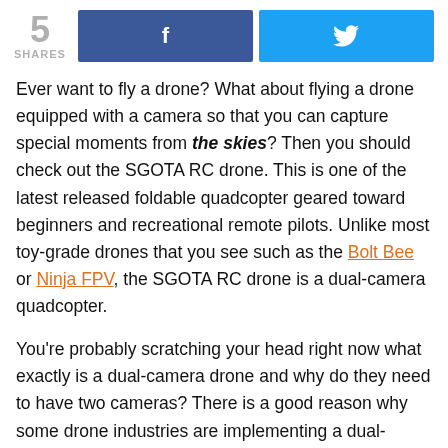5 SHARES [Facebook share button] [Twitter share button]
Ever want to fly a drone? What about flying a drone equipped with a camera so that you can capture special moments from the skies? Then you should check out the SGOTA RC drone. This is one of the latest released foldable quadcopter geared toward beginners and recreational remote pilots. Unlike most toy-grade drones that you see such as the Bolt Bee or Ninja FPV, the SGOTA RC drone is a dual-camera quadcopter.
You’re probably scratching your head right now what exactly is a dual-camera drone and why do they need to have two cameras? There is a good reason why some drone industries are implementing a dual-camera system